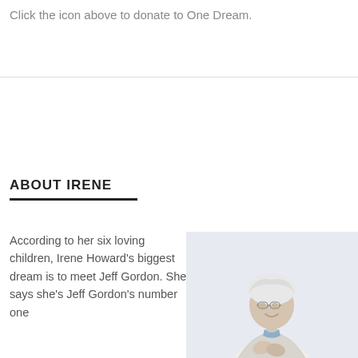Click the icon above to donate to One Dream.
ABOUT IRENE
According to her six loving children, Irene Howard's biggest dream is to meet Jeff Gordon. She says she's Jeff Gordon's number one
[Figure (photo): Elderly woman with white hair and glasses, smiling, hands clasped at chest, wearing a light cardigan with a small blue scarf, photographed against a light gray background.]